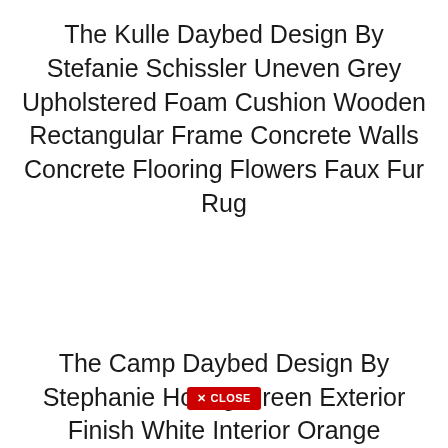The Kulle Daybed Design By Stefanie Schissler Uneven Grey Upholstered Foam Cushion Wooden Rectangular Frame Concrete Walls Concrete Flooring Flowers Faux Fur Rug
The Camp Daybed Design By Stephanie Hornig Green Exterior Finish White Interior Orange